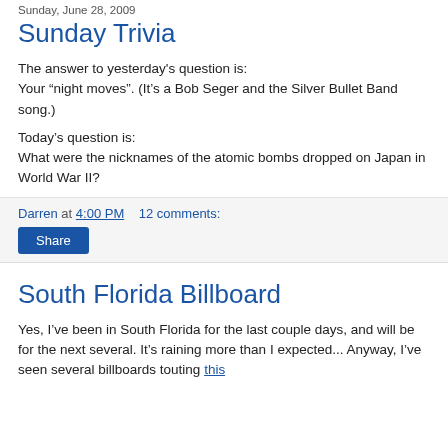Sunday, June 28, 2009
Sunday Trivia
The answer to yesterday's question is:
Your “night moves”. (It’s a Bob Seger and the Silver Bullet Band song.)
Today’s question is:
What were the nicknames of the atomic bombs dropped on Japan in World War II?
Darren at 4:00 PM    12 comments:
South Florida Billboard
Yes, I’ve been in South Florida for the last couple days, and will be for the next several. It’s raining more than I expected... Anyway, I’ve seen several billboards touting this